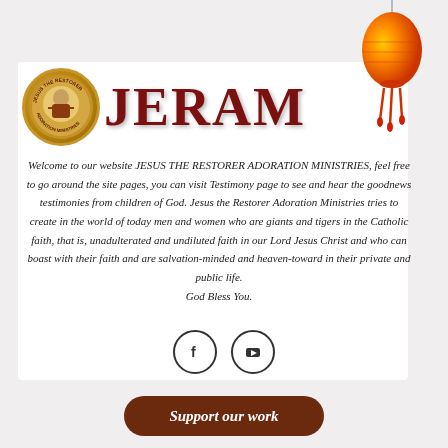[Figure (logo): JERAM logo with circular badge showing Jesus the Restorer Adoration Ministries seal, large red JERAM text, and decorative Chinese red lantern on the right]
Welcome to our website JESUS THE RESTORER ADORATION MINISTRIES, feel free to go around the site pages, you can visit Testimony page to see and hear the goodnews testimonies from children of God. Jesus the Restorer Adoration Ministries tries to create in the world of today men and women who are giants and tigers in the Catholic faith, that is, unadulterated and undiluted faith in our Lord Jesus Christ and who can boast with their faith and are salvation-minded and heaven-toward in their private and public life. God Bless You.
[Figure (illustration): Two circular social media icons: Facebook (f) and YouTube (play button)]
Support our work